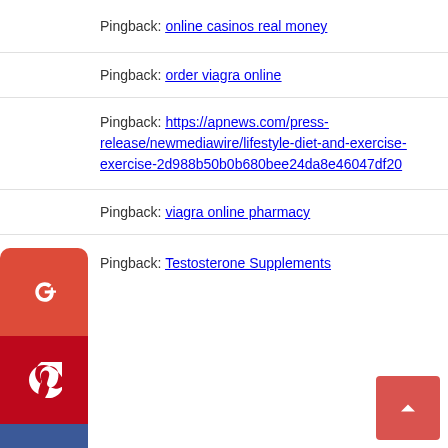Pingback: online casinos real money
Pingback: order viagra online
Pingback: https://apnews.com/press-release/newmediawire/lifestyle-diet-and-exercise-exercise-2d988b50b0b680bee24da8e46047df20
Pingback: viagra online pharmacy
Pingback: Testosterone Supplements